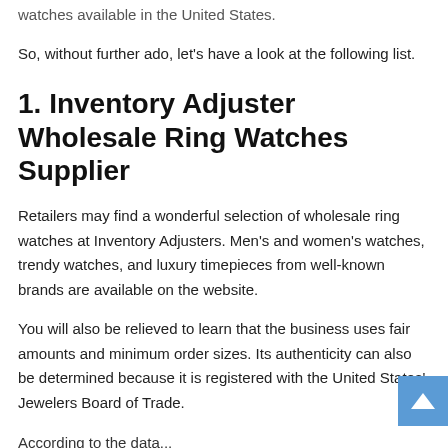watches available in the United States.
So, without further ado, let's have a look at the following list.
1. Inventory Adjuster Wholesale Ring Watches Supplier
Retailers may find a wonderful selection of wholesale ring watches at Inventory Adjusters. Men's and women's watches, trendy watches, and luxury timepieces from well-known brands are available on the website.
You will also be relieved to learn that the business uses fair amounts and minimum order sizes. Its authenticity can also be determined because it is registered with the United States' Jewelers Board of Trade.
According to the data...